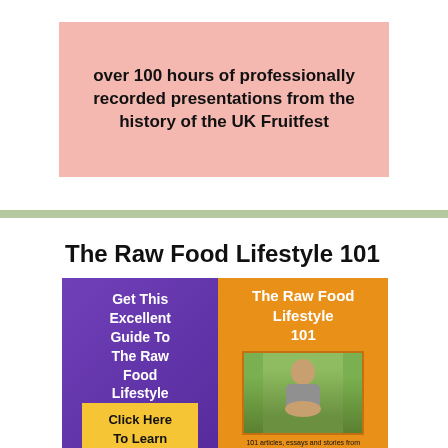[Figure (illustration): Pink banner image with bold black text: 'over 100 hours of professionally recorded presentations from the history of the UK Fruitfest']
The Raw Food Lifestyle 101
[Figure (illustration): Advertisement banner with purple background. Left side has white bold text 'Get This Excellent Guide To The Raw Food Lifestyle' and a yellow 'Click Here To Learn' button. Right side has orange background with white bold title 'The Raw Food Lifestyle 101', a photo of a man holding fruit, and small text '101 articles, essays and stories from 9 years on the raw food lifestyle']